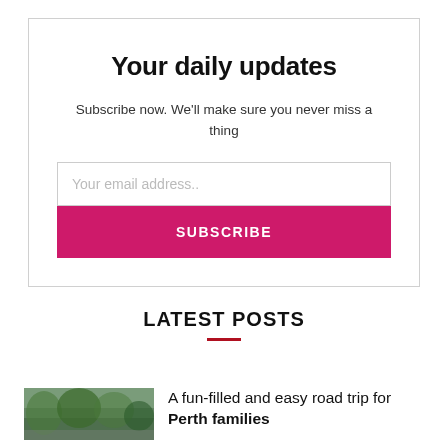Your daily updates
Subscribe now. We'll make sure you never miss a thing
Your email address..
SUBSCRIBE
LATEST POSTS
A fun-filled and easy road trip for Perth families